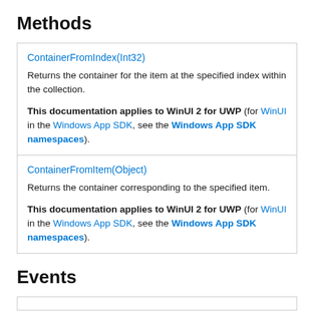Methods
| ContainerFromIndex(Int32) | Returns the container for the item at the specified index within the collection. | This documentation applies to WinUI 2 for UWP (for WinUI in the Windows App SDK, see the Windows App SDK namespaces). |
| ContainerFromItem(Object) | Returns the container corresponding to the specified item. | This documentation applies to WinUI 2 for UWP (for WinUI in the Windows App SDK, see the Windows App SDK namespaces). |
Events